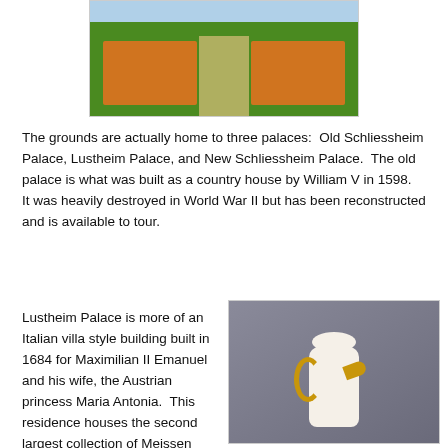[Figure (photo): Aerial or ground-level view of formal garden grounds with orange flowers on either side of a central gravel path, green hedges and lawn visible]
The grounds are actually home to three palaces:  Old Schliessheim Palace, Lustheim Palace, and New Schliessheim Palace.  The old palace is what was built as a country house by William V in 1598.  It was heavily destroyed in World War II but has been reconstructed and is available to tour.
Lustheim Palace is more of an Italian villa style building built in 1684 for Maximilian II Emanuel and his wife, the Austrian princess Maria Antonia.  This residence houses the second largest collection of Meissen porcelain in Germany, and although this tour
[Figure (photo): A decorative Meissen porcelain coffeepot or teapot with gold handle and spout, ornate floral decoration on white background, with domed lid, against a dark gray background]